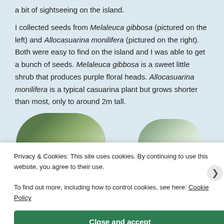a bit of sightseeing on the island.
I collected seeds from Melaleuca gibbosa (pictured on the left) and Allocasuarina monilifera (pictured on the right). Both were easy to find on the island and I was able to get a bunch of seeds. Melaleuca gibbosa is a sweet little shrub that produces purple floral heads. Allocasuarina monilifera is a typical casuarina plant but grows shorter than most, only to around 2m tall.
[Figure (photo): Two circular/oval cropped photos of plants side by side — left shows Melaleuca gibbosa foliage, right shows Allocasuarina monilifera foliage]
Privacy & Cookies: This site uses cookies. By continuing to use this website, you agree to their use.
To find out more, including how to control cookies, see here: Cookie Policy
Close and accept